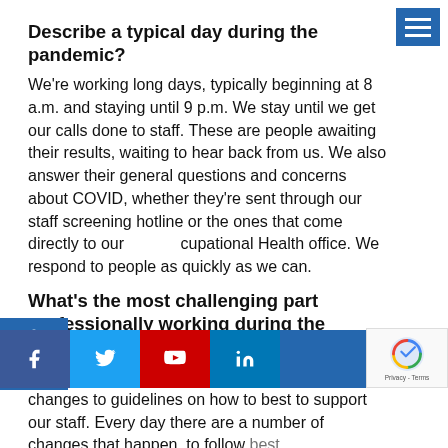Describe a typical day during the pandemic?
We're working long days, typically beginning at 8 a.m. and staying until 9 p.m. We stay until we get our calls done to staff. These are people awaiting their results, waiting to hear back from us. We also answer their general questions and concerns about COVID, whether they're sent through our staff screening hotline or the ones that come directly to our Occupational Health office. We respond to people as quickly as we can.
What's the most challenging part professionally working during the pandemic?
What is very difficult is staying on top of the changes to guidelines on how to best to support our staff. Every day there are a number of changes that happen, to follow best practices, to align what is best for both the organization as we learn more about COVID, our approach to it changes. Our job is to help staff understand